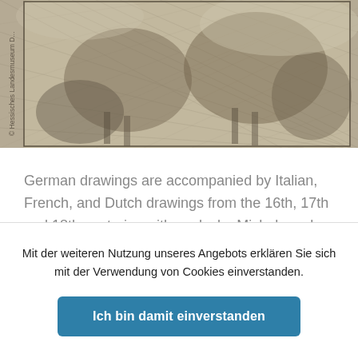[Figure (illustration): A detailed black-and-white engraving artwork showing figures on horseback — reminiscent of Dürer's 'Four Horsemen of the Apocalypse'. The image has a watermark text reading '© Hessisches Landesmuseum D...' rotated vertically along the left side.]
German drawings are accompanied by Italian, French, and Dutch drawings from the 16th, 17th and 18th centuries with works by Michelangelo and Botticelli. Pop art graphics and drawings by Joseph Beuys represent the 20th century. The geological-palaeontological and mineralogical division has been assigned the stratigraphic and palaeontology collections –
Mit der weiteren Nutzung unseres Angebots erklären Sie sich mit der Verwendung von Cookies einverstanden.
Ich bin damit einverstanden